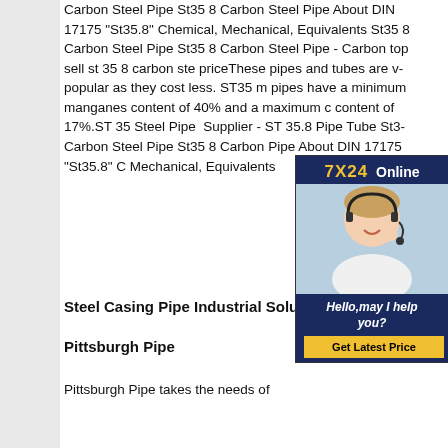Carbon Steel Pipe St35 8 Carbon Steel Pipe About DIN 17175 "St35.8" Chemical, Mechanical, Equivalents St35 8 Carbon Steel Pipe St35 8 Carbon Steel Pipe - Carbon top sell st 35 8 carbon steel priceThese pipes and tubes are very popular as they cost less. ST35 material pipes have a minimum manganese content of 40% and a maximum carbon content of 17%.ST 35 Steel Pipe Supplier - ST 35.8 Pipe Tube St35 Carbon Steel Pipe St35 8 Carbon Steel Pipe About DIN 17175 "St35.8" Chemical, Mechanical, Equivalents
[Figure (photo): Customer service representative with headset, dark blue banner with '7X24 Online', 'Hello,may I help you?' text, and 'Get Latest Price' yellow button]
Steel Casing Pipe Industrial Solutions
Pittsburgh Pipe
Pittsburgh Pipe takes the needs of